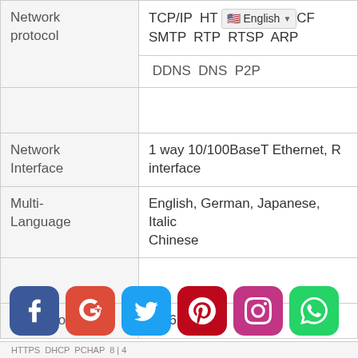| Feature | Value |
| --- | --- |
| Network protocol | TCP/IP  HTTP  SMTP  RTP  RTSP  ARP  DDNS  DNS  P2P |
|  |  |
| Network Interface | 1 way 10/100BaseT Ethernet, RJ interface |
| Multi-Language | English, German, Japanese, Italian, Chinese |
|  |  |
| Waterproof | IP66 |